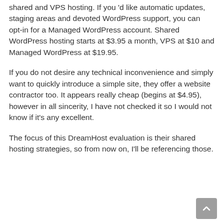shared and VPS hosting. If you 'd like automatic updates, staging areas and devoted WordPress support, you can opt-in for a Managed WordPress account. Shared WordPress hosting starts at $3.95 a month, VPS at $10 and Managed WordPress at $19.95.
If you do not desire any technical inconvenience and simply want to quickly introduce a simple site, they offer a website contractor too. It appears really cheap (begins at $4.95), however in all sincerity, I have not checked it so I would not know if it's any excellent.
The focus of this DreamHost evaluation is their shared hosting strategies, so from now on, I'll be referencing those.